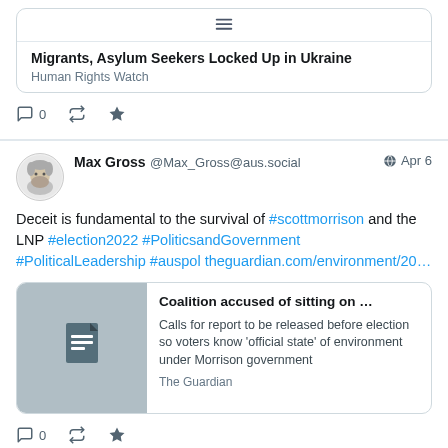[Figure (screenshot): Partial tweet showing a linked article card: 'Migrants, Asylum Seekers Locked Up in Ukraine' from Human Rights Watch, with reply/retweet/like action icons and counts]
Max Gross @Max_Gross@aus.social Apr 6
Deceit is fundamental to the survival of #scottmorrison and the LNP #election2022 #PoliticsandGovernment #PoliticalLeadership #auspol theguardian.com/environment/20…
[Figure (screenshot): Linked article card: 'Coalition accused of sitting on …' – Calls for report to be released before election so voters know 'official state' of environment under Morrison government. Source: The Guardian]